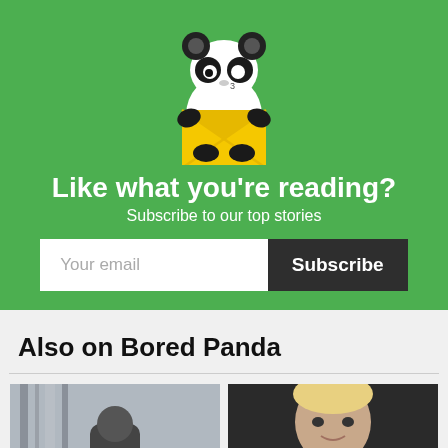[Figure (illustration): Cartoon panda holding a yellow envelope, on a green background]
Like what you're reading?
Subscribe to our top stories
Your email
Subscribe
Also on Bored Panda
[Figure (photo): Two thumbnail images at the bottom of the page, partially visible]
[Figure (photo): Person with blonde hair, partially visible thumbnail]